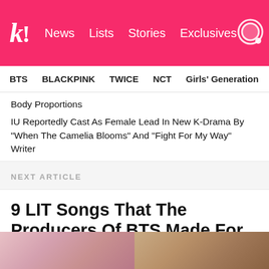k! News Lists Stories Exclusives
BTS  BLACKPINK  TWICE  NCT  Girls' Generation  aespa
Body Proportions
IU Reportedly Cast As Female Lead In New K-Drama By "When The Camelia Blooms" And "Fight For My Way" Writer
NEXT ARTICLE
9 LIT Songs That The Producers Of BTS Made For Other Artists
They could have been BTS songs.
[Figure (photo): Two cropped photos of people side by side at the bottom of the page]